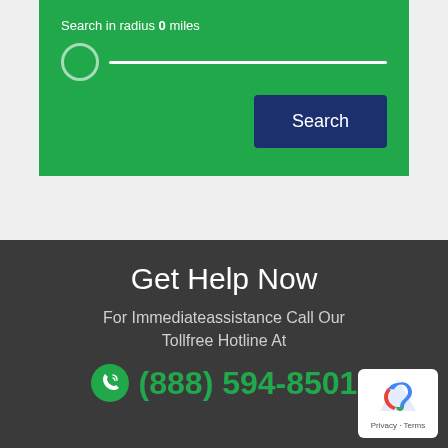[Figure (screenshot): Search widget with green background showing 'Search in radius 0 miles' label, a slider with circle control and white track, and a dark navy 'Search' button on the right.]
Get Help Now
For Immediateassistance Call Our Tollfree Hotline At
(888) 594-8501